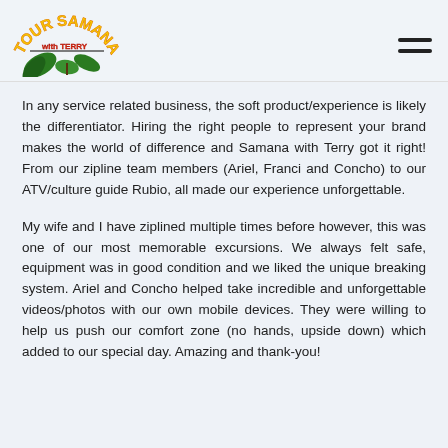Tour Samana with Terry
In any service related business, the soft product/experience is likely the differentiator. Hiring the right people to represent your brand makes the world of difference and Samana with Terry got it right! From our zipline team members (Ariel, Franci and Concho) to our ATV/culture guide Rubio, all made our experience unforgettable.
My wife and I have ziplined multiple times before however, this was one of our most memorable excursions. We always felt safe, equipment was in good condition and we liked the unique breaking system. Ariel and Concho helped take incredible and unforgettable videos/photos with our own mobile devices. They were willing to help us push our comfort zone (no hands, upside down) which added to our special day. Amazing and thank-you!